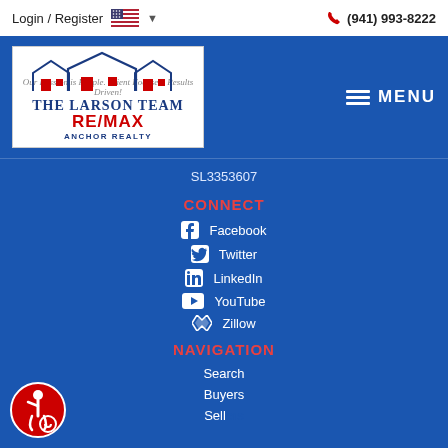Login / Register  (941) 993-8222
[Figure (logo): The Larson Team RE/MAX Anchor Realty logo with house icons]
MENU
SL3353607
CONNECT
Facebook
Twitter
LinkedIn
YouTube
Zillow
NAVIGATION
Search
Buyers
Sellers